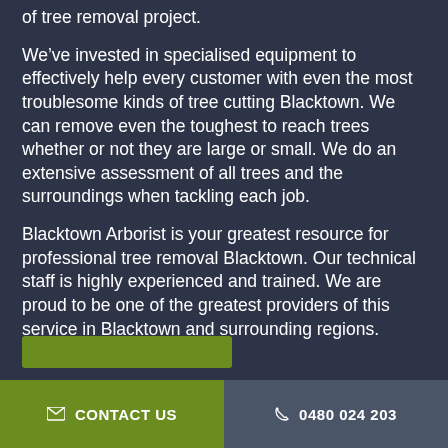of tree removal project.
We've invested in specialised equipment to effectively help every customer with even the most troublesome kinds of tree cutting Blacktown. We can remove even the toughest to reach trees whether or not they are large or small. We do an extensive assessment of all trees and the surroundings when tackling each job.
Blacktown Arborist is your greatest resource for professional tree removal Blacktown. Our technical staff is highly experienced and trained. We are proud to be one of the greatest providers of this service in Blacktown and surrounding regions.
CONTACT US   0480 024 203